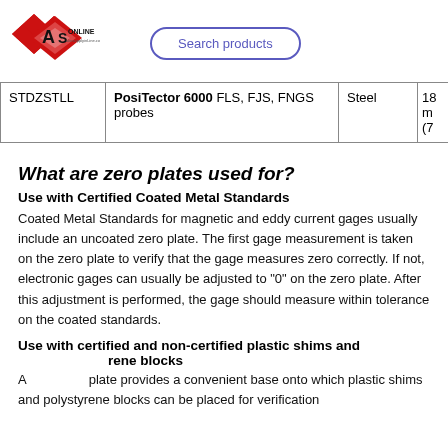[Figure (logo): AS Online logo with red diamond shapes and text 'ONLINE']
| STDZSTLL | PosiTector 6000 FLS, FJS, FNGS probes | Steel | 18 m (7 |
What are zero plates used for?
Use with Certified Coated Metal Standards
Coated Metal Standards for magnetic and eddy current gages usually include an uncoated zero plate. The first gage measurement is taken on the zero plate to verify that the gage measures zero correctly. If not, electronic gages can usually be adjusted to "0" on the zero plate. After this adjustment is performed, the gage should measure within tolerance on the coated standards.
Use with certified and non-certified plastic shims and polystyrene blocks
A zero plate provides a convenient base onto which plastic shims and polystyrene blocks can be placed for verification